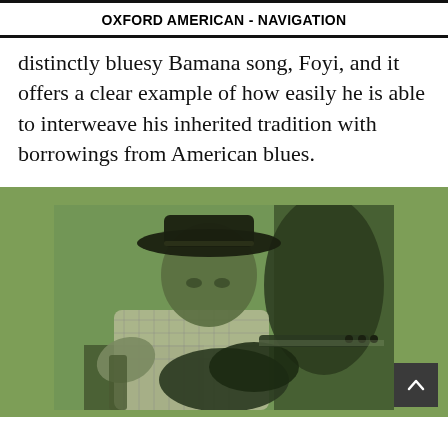OXFORD AMERICAN - NAVIGATION
distinctly bluesy Bamana song,  Foyi,  and it offers a clear example of how easily he is able to interweave his inherited tradition with borrowings from American blues.
[Figure (photo): Black and white (green-tinted) photograph of a man wearing a hat and checkered shirt, playing an electric guitar. The photo is set against a sage/olive green background.]